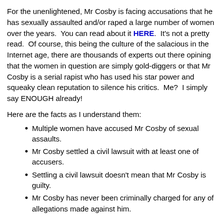For the unenlightened, Mr Cosby is facing accusations that he has sexually assaulted and/or raped a large number of women over the years. You can read about it HERE. It's not a pretty read. Of course, this being the culture of the salacious in the Internet age, there are thousands of experts out there opining that the women in question are simply gold-diggers or that Mr Cosby is a serial rapist who has used his star power and squeaky clean reputation to silence his critics. Me? I simply say ENOUGH already!
Here are the facts as I understand them:
Multiple women have accused Mr Cosby of sexual assaults.
Mr Cosby settled a civil lawsuit with at least one of accusers.
Settling a civil lawsuit doesn't mean that Mr Cosby is guilty.
Mr Cosby has never been criminally charged for any of allegations made against him.